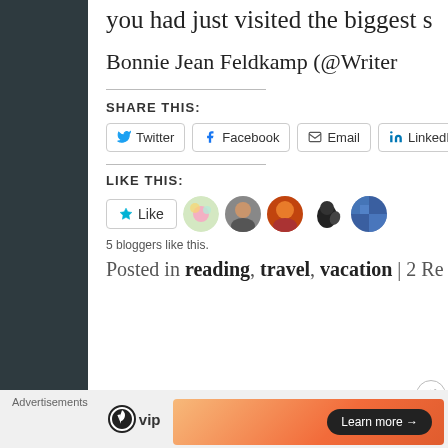you had just visited the biggest s
Bonnie Jean Feldkamp (@Writer
SHARE THIS:
[Figure (screenshot): Social share buttons: Twitter, Facebook, Email, LinkedIn]
LIKE THIS:
[Figure (screenshot): Like button with star icon and 5 blogger avatar photos]
5 bloggers like this.
Posted in reading, travel, vacation | 2 Re
[Figure (screenshot): Advertisements bar with WordPress VIP logo and orange ad banner with Learn more button]